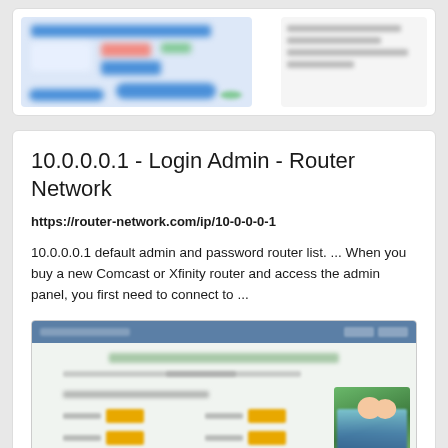[Figure (screenshot): Blurred screenshot of a webpage, partially visible at top of page]
10.0.0.0.1 - Login Admin - Router Network
https://router-network.com/ip/10-0-0-0-1
10.0.0.0.1 default admin and password router list. ... When you buy a new Comcast or Xfinity router and access the admin panel, you first need to connect to ...
[Figure (screenshot): Blurred screenshot of router-network.com website showing a form with yellow input fields and a photo of two people]